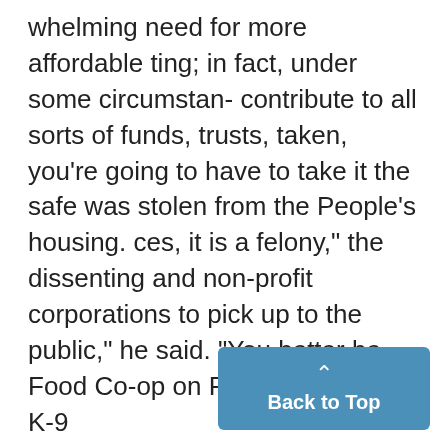whelming need for more affordable ting; in fact, under some circumstan- contribute to all sorts of funds, trusts, taken, you're going to have to take it the safe was stolen from the People's housing. ces, it is a felony," the dissenting and non-profit corporations to pick up to the public," he said. "You better be Food Co-op on Packard Road. A K-9 Deem and other Republicans report said. where the market leaves off. doggone sure that people who are unit tracked the suspect's scent but remain skeptical about that. An
[Figure (other): Back to Top button — a teal/blue rounded rectangle UI element with an upward caret arrow icon and the text 'Back to Top']